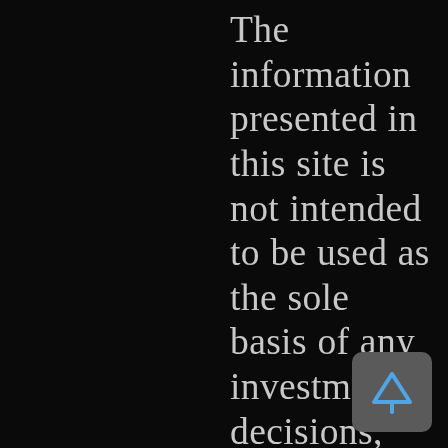The information presented in this site is not intended to be used as the sole basis of any investment decisions, nor should it be construed as advice designed to meet the investment needs of any particular investor. Nothing in our research constitutes legal, accounting or tax advice or individually tailored investment advice. Our research is prepared for general circulation and has been prepared without regard to the individual financial circumstances and objectives of persons who receive or obtain access to it. Our research is based on sources that we believe to be reliable. However, we do